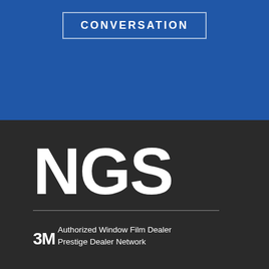CONVERSATION
NGS
3M
Authorized Window Film Dealer
Prestige Dealer Network